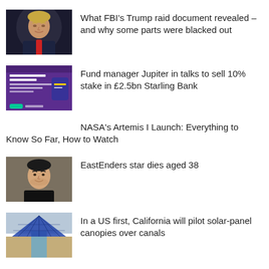[Figure (photo): Photo of Donald Trump in dark suit with red tie against dark background]
What FBI’s Trump raid document revealed – and why some parts were blacked out
[Figure (screenshot): Screenshot of Starling Bank website with purple background showing 'Award winning bank accounts']
Fund manager Jupiter in talks to sell 10% stake in £2.5bn Starling Bank
NASA’s Artemis I Launch: Everything to Know So Far, How to Watch
[Figure (photo): Photo of a man smiling, EastEnders star]
EastEnders star dies aged 38
[Figure (photo): Aerial photo of solar panels over a canal in California]
In a US first, California will pilot solar-panel canopies over canals